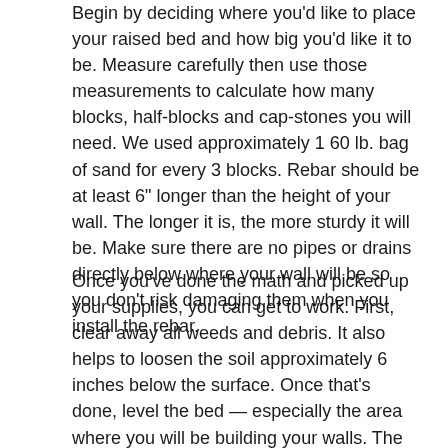Begin by deciding where you'd like to place your raised bed and how big you'd like it to be. Measure carefully then use those measurements to calculate how many blocks, half-blocks and cap-stones you will need. We used approximately 1 60 lb. bag of sand for every 3 blocks. Rebar should be at least 6" longer than the height of your wall. The longer it is, the more sturdy it will be. Make sure there are no pipes or drains directly below where your wall will be so you don't risk damaging them when you install the rebar.
Once you've done the math and picked up your supplies, you can get to work. First, clear away all weeds and debris. It also helps to loosen the soil approximately 6 inches below the surface. Once that's done, level the bed — especially the area where you will be building your walls. The more level you can get it now, the quicker the wall building will go later.